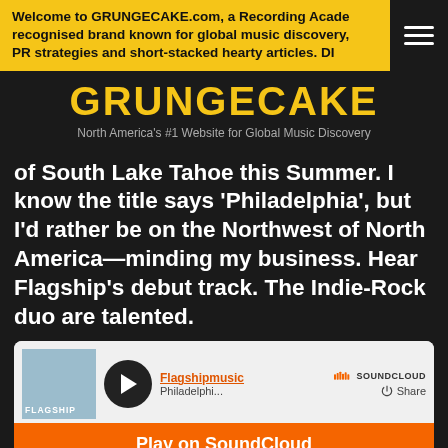Welcome to GRUNGECAKE.com, a Recording Academy recognised brand known for global music discovery, PR strategies and short-stacked hearty articles. DI...
GRUNGECAKE
North America's #1 Website for Global Music Discovery
of South Lake Tahoe this Summer. I know the title says 'Philadelphia', but I'd rather be on the Northwest of North America—minding my business. Hear Flagship's debut track. The Indie-Rock duo are talented.
[Figure (screenshot): SoundCloud embedded player for Flagshipmusic, showing Philadelphia track. Includes play button, album art, Play on SoundCloud orange button, and Listen in browser bar.]